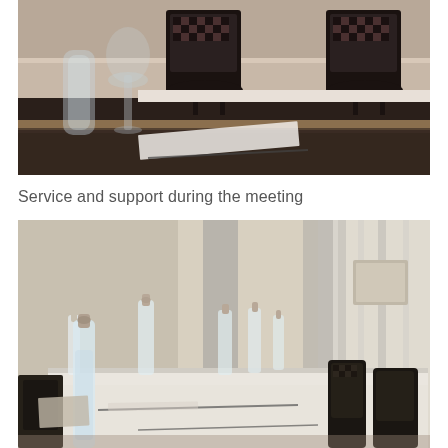[Figure (photo): Close-up of a conference room table with a water glass, wine glass, paper and pen in the foreground; two dark chairs with checkered backs visible in the background at a dark wooden table]
Service and support during the meeting
[Figure (photo): Conference room with a long table set with multiple water bottles and pens; dark chairs arranged along the right side; bright windows with curtains in the background]